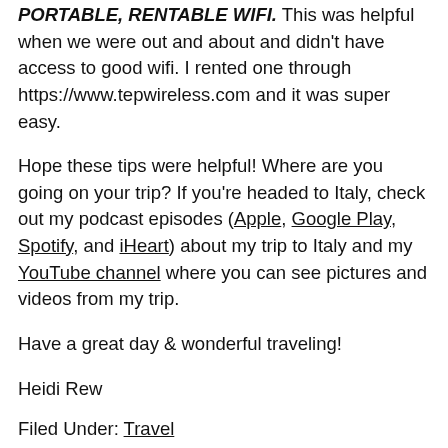PORTABLE, RENTABLE WIFI. This was helpful when we were out and about and didn't have access to good wifi. I rented one through https://www.tepwireless.com and it was super easy.
Hope these tips were helpful! Where are you going on your trip? If you're headed to Italy, check out my podcast episodes (Apple, Google Play, Spotify, and iHeart) about my trip to Italy and my YouTube channel where you can see pictures and videos from my trip.
Have a great day & wonderful traveling!
Heidi Rew
Filed Under: Travel
Tagged With: italy, tips, travel